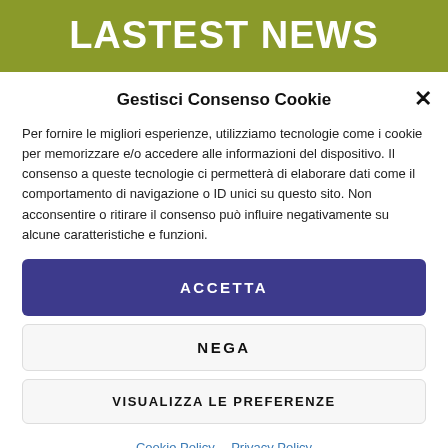[Figure (screenshot): Olive/green banner with large white bold uppercase text 'LASTEST NEWS' partially visible at top]
Gestisci Consenso Cookie
Per fornire le migliori esperienze, utilizziamo tecnologie come i cookie per memorizzare e/o accedere alle informazioni del dispositivo. Il consenso a queste tecnologie ci permetterà di elaborare dati come il comportamento di navigazione o ID unici su questo sito. Non acconsentire o ritirare il consenso può influire negativamente su alcune caratteristiche e funzioni.
ACCETTA
NEGA
VISUALIZZA LE PREFERENZE
Cookie Policy  Privacy Policy